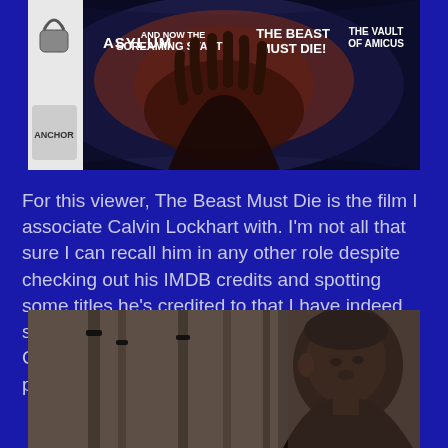[Figure (photo): A DVD or Blu-ray box set cover showing horror films: Asylum, And Now The Screaming Starts, The Beast Must Die!, The Vault of Amicus]
For this viewer, The Beast Must Die is the film I associate Calvin Lockhart with. I'm not all that sure I can recall him in any other role despite checking out his IMDB credits and spotting some titles he's credited to that I have indeed seen. Dark of the Sun, Wild At Heart and Coming to America among them. Lockhart passed away in 2007.
[Figure (photo): A still from a film showing a man (Calvin Lockhart) from the side, with what appears to be rifle barrels in the foreground]